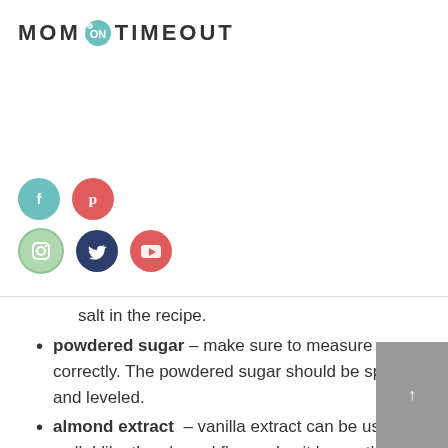MOM ON TIMEOUT
[Figure (infographic): Social media icon buttons: Facebook (teal), Pinterest (red), Instagram (green/outlined), Twitter (dark navy), YouTube (red)]
salt in the recipe.
powdered sugar – make sure to measure correctly. The powdered sugar should be spooned and leveled.
almond extract – vanilla extract can be used as well. I like the almond flavor plus it keeps these cookies